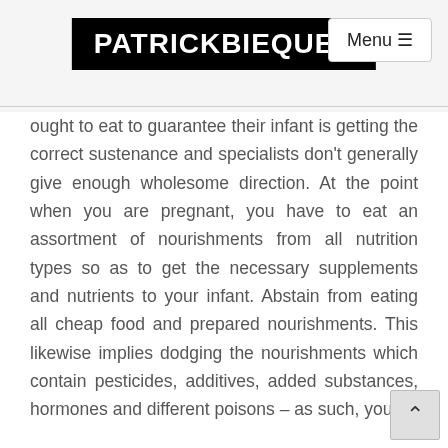PATRICKBIEQUES
ought to eat to guarantee their infant is getting the correct sustenance and specialists don't generally give enough wholesome direction. At the point when you are pregnant, you have to eat an assortment of nourishments from all nutrition types so as to get the necessary supplements and nutrients to your infant. Abstain from eating all cheap food and prepared nourishments. This likewise implies dodging the nourishments which contain pesticides, additives, added substances, hormones and different poisons – as such, you